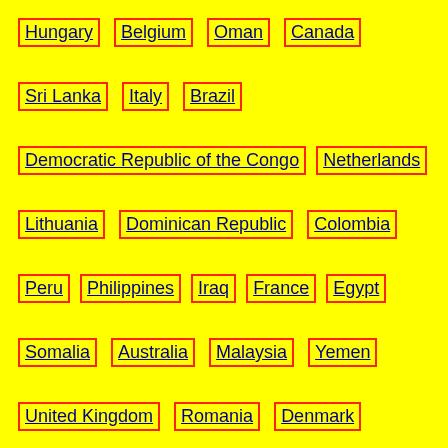Hungary
Belgium
Oman
Canada
Sri Lanka
Italy
Brazil
Democratic Republic of the Congo
Netherlands
Lithuania
Dominican Republic
Colombia
Peru
Philippines
Iraq
France
Egypt
Somalia
Australia
Malaysia
Yemen
United Kingdom
Romania
Denmark
Indonesia
Pakistan
Bhutan
Greece
Nicaragua
Russia
Austria
Thailand
Czech Republic
Sweden
Poland